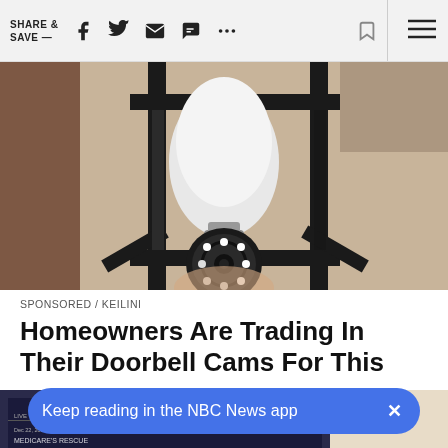SHARE & SAVE —
[Figure (photo): Close-up photo of a security camera shaped like a light bulb with LED ring, mounted inside a black outdoor lantern on a textured stucco wall.]
SPONSORED / KEILINI
Homeowners Are Trading In Their Doorbell Cams For This
[Figure (screenshot): Partial screenshot of a news broadcast showing a woman in the lower portion and a TV screen with text graphics in the background.]
Keep reading in the NBC News app